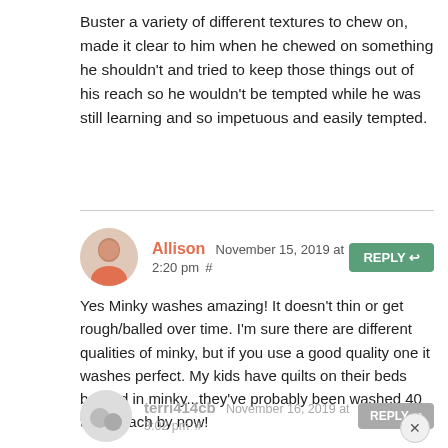Buster a variety of different textures to chew on, made it clear to him when he chewed on something he shouldn't and tried to keep those things out of his reach so he wouldn't be tempted while he was still learning and so impetuous and easily tempted.
Allison November 15, 2019 at 2:20 pm # REPLY
Yes Minky washes amazing! It doesn't thin or get rough/balled over time. I'm sure there are different qualities of minky, but if you use a good quality one it washes perfect. My kids have quilts on their beds backed in minky...they've probably been washed 40 times each by now!
terri414cb November 16, 2019 at 3:02 pm # REPLY
There are dog puzzles to keep Finn happy. You can